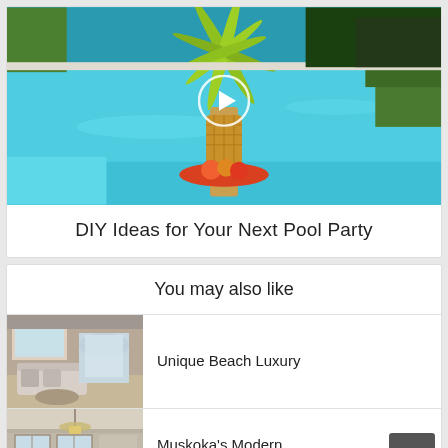[Figure (photo): A swimming pool scene with a palm tree and a pineapple with fruit on the edge. A circular play button overlay is centered on the image.]
DIY Ideas for Your Next Pool Party
You may also like
[Figure (photo): Interior of a luxury beach house living room with white sofa and arched window.]
Unique Beach Luxury
[Figure (photo): Interior of a modern farmhouse with elegant lighting and windows.]
Muskoka's Modern Farmhouse